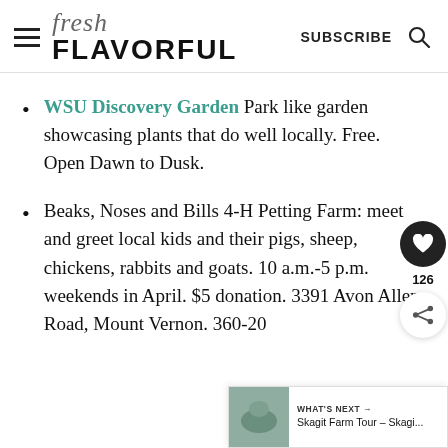fresh FLAVORFUL — SUBSCRIBE
WSU Discovery Garden Park like garden showcasing plants that do well locally. Free. Open Dawn to Dusk.
Beaks, Noses and Bills 4-H Petting Farm: meet and greet local kids and their pigs, sheep, chickens, rabbits and goats. 10 a.m.-5 p.m. weekends in April. $5 donation. 3391 Avon Allen Road, Mount Vernon. 360-20[truncated]